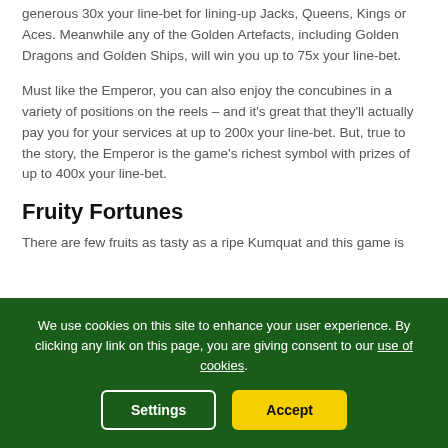generous 30x your line-bet for lining-up Jacks, Queens, Kings or Aces. Meanwhile any of the Golden Artefacts, including Golden Dragons and Golden Ships, will win you up to 75x your line-bet.
Must like the Emperor, you can also enjoy the concubines in a variety of positions on the reels – and it's great that they'll actually pay you for your services at up to 200x your line-bet. But, true to the story, the Emperor is the game's richest symbol with prizes of up to 400x your line-bet.
Fruity Fortunes
There are few fruits as tasty as a ripe Kumquat and this game is...
We use cookies on this site to enhance your user experience. By clicking any link on this page, you are giving consent to our use of cookies.